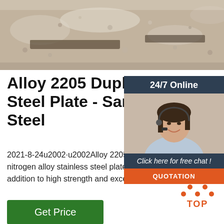[Figure (photo): Top portion of a photo showing what appears to be steel plates or metal materials on a gravel/concrete surface, partially cropped]
Alloy 2205 Duplex Stainless Steel Plate - Sandmeyer Steel
2021-8-24u2002·u2002Alloy 2205 (UNS S32305/S31803) is a 22% chromium, 3% molybdenum, 5-6% nickel, nitrogen alloy stainless steel plate with high general, localized and stress corrosion resistance properties in addition to high strength and excellent impact toughness.
[Figure (photo): Chat widget overlay showing a woman with a headset smiling, with 24/7 Online header, Click here for free chat text, and QUOTATION orange button]
[Figure (other): Orange TOP button with triangle/arrow icon made of dots pointing upward, used to scroll back to top of page]